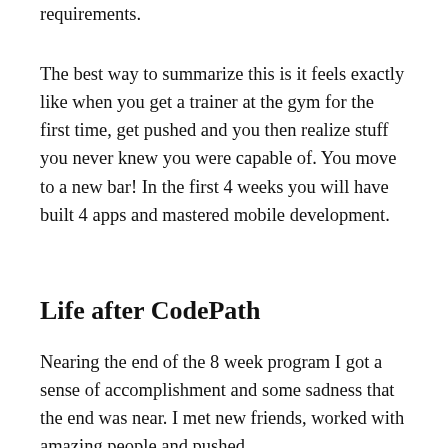requirements.
The best way to summarize this is it feels exactly like when you get a trainer at the gym for the first time, get pushed and you then realize stuff you never knew you were capable of. You move to a new bar! In the first 4 weeks you will have built 4 apps and mastered mobile development.
Life after CodePath
Nearing the end of the 8 week program I got a sense of accomplishment and some sadness that the end was near. I met new friends, worked with amazing people and pushed